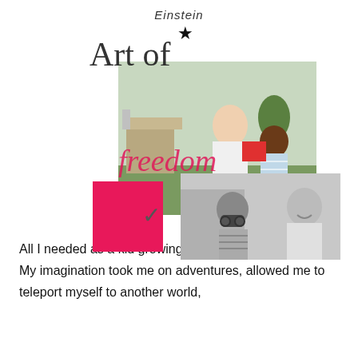Einstein
[Figure (illustration): Collage of two photos: a color photo of an Asian man smiling facing a young Black boy outdoors, and a black-and-white photo of a boy with binoculars and a smiling man. Overlaid with cursive script 'Art of freedom' in dark and pink ink, a star symbol, a pink square block, and a pink arrow.]
All I needed as a kid growing up was a pencil and paper. My imagination took me on adventures, allowed me to teleport myself to another world,